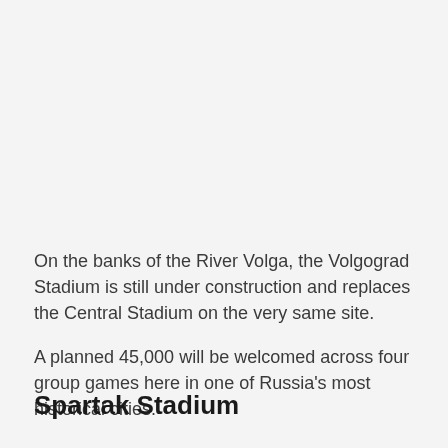On the banks of the River Volga, the Volgograd Stadium is still under construction and replaces the Central Stadium on the very same site.

A planned 45,000 will be welcomed across four group games here in one of Russia's most historical cities.
Spartak Stadium